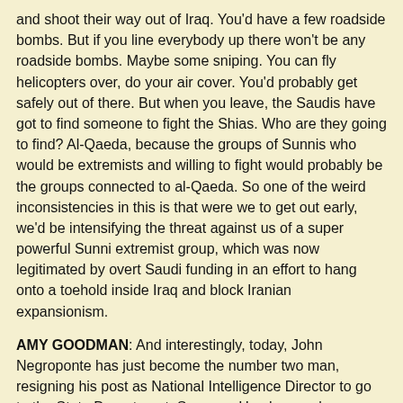and shoot their way out of Iraq. You'd have a few roadside bombs. But if you line everybody up there won't be any roadside bombs. Maybe some sniping. You can fly helicopters over, do your air cover. You'd probably get safely out of there. But when you leave, the Saudis have got to find someone to fight the Shias. Who are they going to find? Al-Qaeda, because the groups of Sunnis who would be extremists and willing to fight would probably be the groups connected to al-Qaeda. So one of the weird inconsistencies in this is that were we to get out early, we'd be intensifying the threat against us of a super powerful Sunni extremist group, which was now legitimated by overt Saudi funding in an effort to hang onto a toehold inside Iraq and block Iranian expansionism.
AMY GOODMAN: And interestingly, today, John Negroponte has just become the number two man, resigning his post as National Intelligence Director to go to the State Department, Seymour Hersh says, because of his discomfort that the administration's covert actions in the Middle East so closely echo the Iran-Contra scandal of the 1980s, and Negroponte was involved with that.